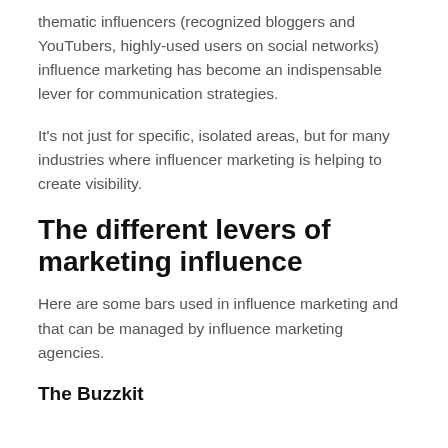thematic influencers (recognized bloggers and YouTubers, highly-used users on social networks) influence marketing has become an indispensable lever for communication strategies.
It's not just for specific, isolated areas, but for many industries where influencer marketing is helping to create visibility.
The different levers of marketing influence
Here are some bars used in influence marketing and that can be managed by influence marketing agencies.
The Buzzkit